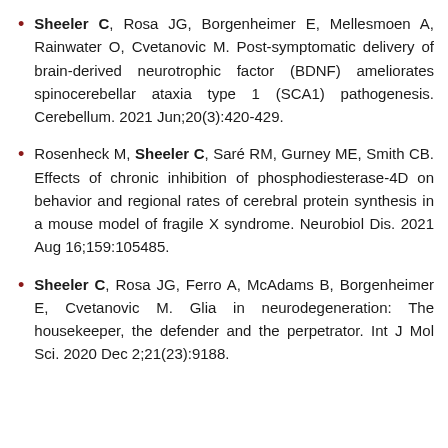Sheeler C, Rosa JG, Borgenheimer E, Mellesmoen A, Rainwater O, Cvetanovic M. Post-symptomatic delivery of brain-derived neurotrophic factor (BDNF) ameliorates spinocerebellar ataxia type 1 (SCA1) pathogenesis. Cerebellum. 2021 Jun;20(3):420-429.
Rosenheck M, Sheeler C, Saré RM, Gurney ME, Smith CB. Effects of chronic inhibition of phosphodiesterase-4D on behavior and regional rates of cerebral protein synthesis in a mouse model of fragile X syndrome. Neurobiol Dis. 2021 Aug 16;159:105485.
Sheeler C, Rosa JG, Ferro A, McAdams B, Borgenheimer E, Cvetanovic M. Glia in neurodegeneration: The housekeeper, the defender and the perpetrator. Int J Mol Sci. 2020 Dec 2;21(23):9188.